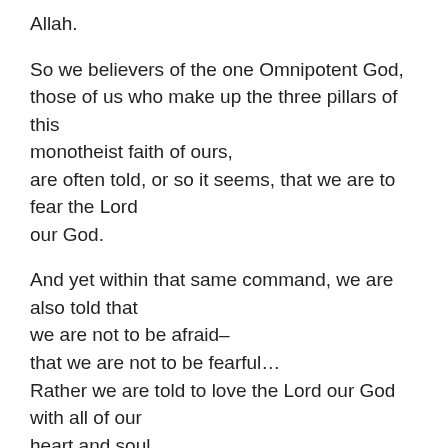Allah.
So we believers of the one Omnipotent God, those of us who make up the three pillars of this monotheist faith of ours, are often told, or so it seems, that we are to fear the Lord our God.
And yet within that same command, we are also told that we are not to be afraid–
that we are not to be fearful…
Rather we are told to love the Lord our God with all of our heart and soul.
For our's is a great and powerful God…Master Creator. He breathed life into our nostrils as he formed us in secret within the womb. He has known us before we were even formed.